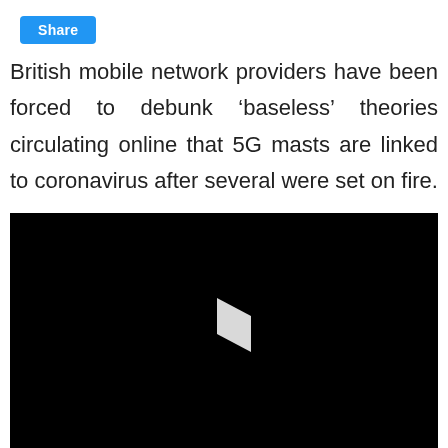[Figure (other): Blue Share button]
British mobile network providers have been forced to debunk ‘baseless’ theories circulating online that 5G masts are linked to coronavirus after several were set on fire.
[Figure (screenshot): Black video player with white play button triangle in center]
[Figure (other): Chevron down arrow icon below video player]